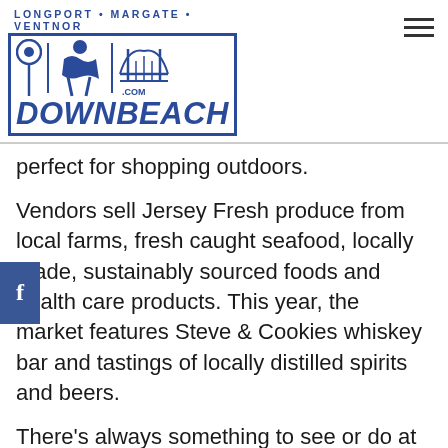[Figure (logo): Downbeach.com logo with LONGPORT · MARGATE · VENTNOR tagline, blue border, icons of lollipop, figure, and bridge, and DOWNBEACH text in blue]
perfect for shopping outdoors.
Vendors sell Jersey Fresh produce from local farms, fresh caught seafood, locally made, sustainably sourced foods and health care products. This year, the market features Steve & Cookies whiskey bar and tastings of locally distilled spirits and beers.
There's always something to see or do at the market, including pop-ups and special events, such as the annual Peach Pie Contest. It's best to shop early, especially when its time for Jersey Fresh tomatoes and corn, which sells out quickly